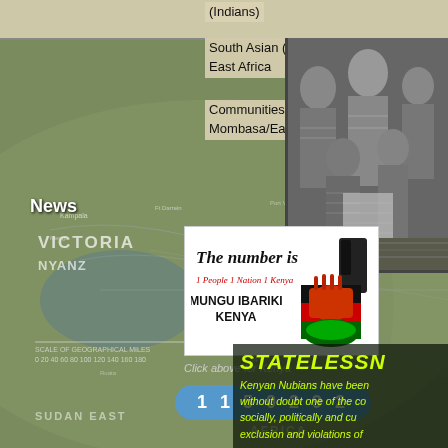(Indians)
South Asian (Indians) In East Africa
Communities of Mombasa/East Africa
News
[Figure (logo): White box with handwritten-style text: 'The number is 1 People 1 Nation 1 Kenya MUNGU IBARIKI KENYA' with Kenyan flag fist icon in red, black, green]
Click above for Kenya
1 1 5 0 2 9 2
[Figure (photo): Black and white historical photograph of a group of African people, likely Nubian or East African, seated and standing, wearing traditional dress/wraps]
[Figure (map): Historical map of British East Africa showing Lake Victoria, Nyanza, Sudan, German East Africa regions with geographical place names]
STATELESSN
Kenyan Nubians have been without doubt one of the co socially, politically and cu exclusion and violations of